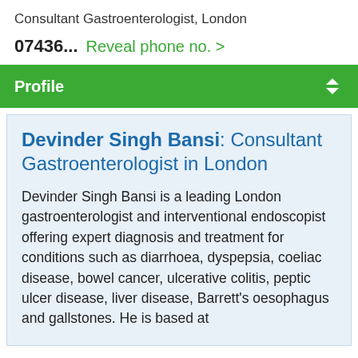Consultant Gastroenterologist, London
07436... Reveal phone no. >
Profile
Devinder Singh Bansi: Consultant Gastroenterologist in London
Devinder Singh Bansi is a leading London gastroenterologist and interventional endoscopist offering expert diagnosis and treatment for conditions such as diarrhoea, dyspepsia, coeliac disease, bowel cancer, ulcerative colitis, peptic ulcer disease, liver disease, Barrett's oesophagus and gallstones. He is based at